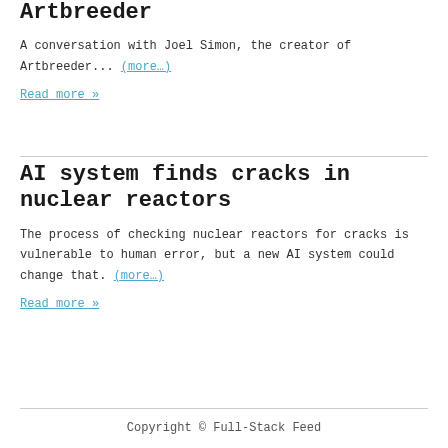Artbreeder
A conversation with Joel Simon, the creator of Artbreeder... (more…)
Read more »
AI system finds cracks in nuclear reactors
The process of checking nuclear reactors for cracks is vulnerable to human error, but a new AI system could change that. (more…)
Read more »
Copyright © Full-Stack Feed